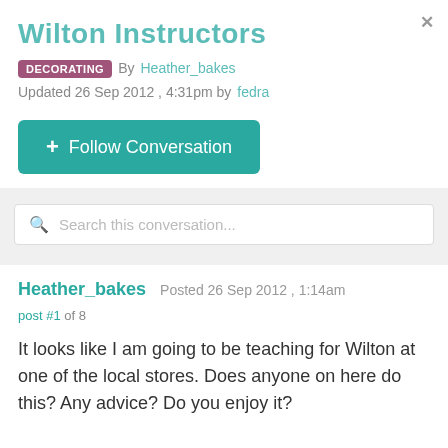Wilton Instructors
DECORATING  By Heather_bakes Updated 26 Sep 2012 , 4:31pm by fedra
+ Follow Conversation
Search this conversation...
Heather_bakes  Posted 26 Sep 2012 , 1:14am
post #1 of 8
It looks like I am going to be teaching for Wilton at one of the local stores. Does anyone on here do this? Any advice? Do you enjoy it?